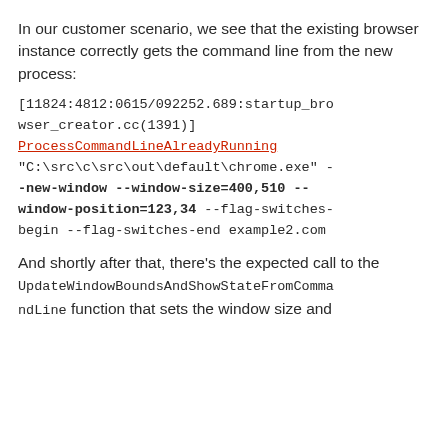In our customer scenario, we see that the existing browser instance correctly gets the command line from the new process:
[11824:4812:0615/092252.689:startup_browser_creator.cc(1391)] ProcessCommandLineAlreadyRunning "C:\src\c\src\out\default\chrome.exe" --new-window --window-size=400,510 --window-position=123,34 --flag-switches-begin --flag-switches-end example2.com
And shortly after that, there's the expected call to the UpdateWindowBoundsAndShowStateFromCommandLine function that sets the window size and